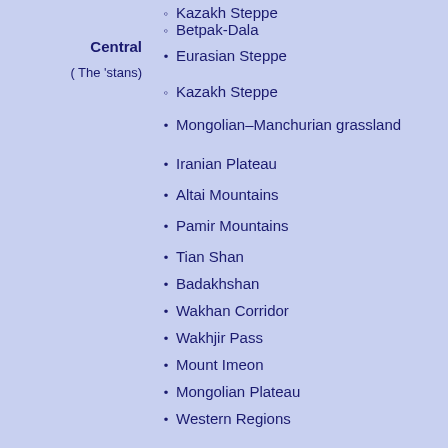Kazakh Steppe (partial, top)
Central — Betpak-Dala
(The 'stans) — Eurasian Steppe
Kazakh Steppe
Mongolian–Manchurian grassland
Iranian Plateau
Altai Mountains
Pamir Mountains
Tian Shan
Badakhshan
Wakhan Corridor
Wakhjir Pass
Mount Imeon
Mongolian Plateau
Western Regions
Taklamakan Desert
Karakoram
Trans-Karakoram Tract
Siachen Glacier